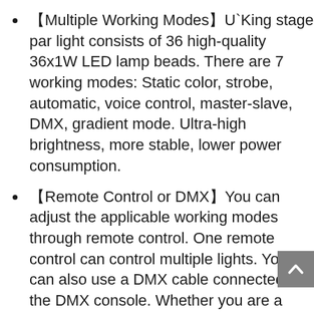【Multiple Working Modes】U`King stage par light consists of 36 high-quality 36x1W LED lamp beads. There are 7 working modes: Static color, strobe, automatic, voice control, master-slave, DMX, gradient mode. Ultra-high brightness, more stable, lower power consumption.
【Remote Control or DMX】You can adjust the applicable working modes through remote control. One remote control can control multiple lights. You can also use a DMX cable connected to the DMX console. Whether you are a professional DMX or an amateur buyer, stage lighting effects can be easily controlled.(DMX cables are available in U`King store).